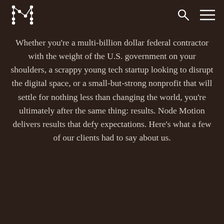Node Motion logo, search icon, menu icon
Whether you’re a multi-billion dollar federal contractor with the weight of the U.S. government on your shoulders, a scrappy young tech startup looking to disrupt the digital space, or a small-but-strong nonprofit that will settle for nothing less than changing the world, you’re ultimately after the same thing: results. Node Motion delivers results that defy expectations. Here’s what a few of our clients had to say about us.